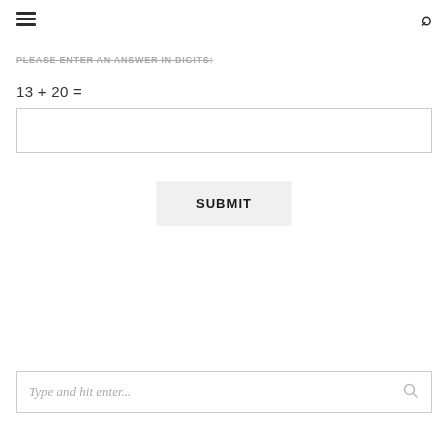≡  🔍
PLEASE ENTER AN ANSWER IN DIGITS:
(input box)
SUBMIT
Type and hit enter...